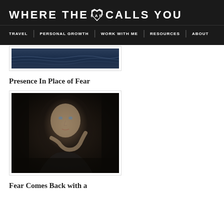WHERE THE HEART CALLS YOU
TRAVEL | PERSONAL GROWTH | WORK WITH ME | RESOURCES | ABOUT
[Figure (photo): Ocean/water surface photograph with dark blue tones]
Presence In Place of Fear
[Figure (photo): Portrait of a person with hand on face, dimly lit, dark background]
Fear Comes Back with a